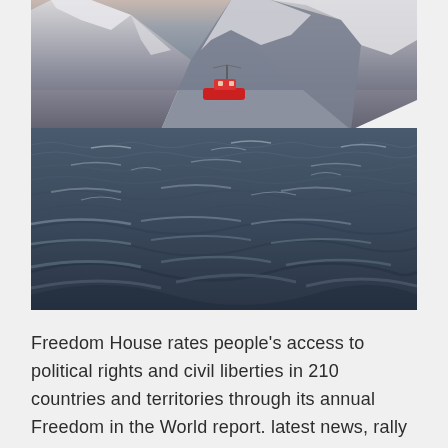[Figure (photo): A photograph of a red fishing boat on dark choppy ocean waters with snow-capped mountains in the background under a dim sky.]
Freedom House rates people's access to political rights and civil liberties in 210 countries and territories through its annual Freedom in the World report. latest news, rally